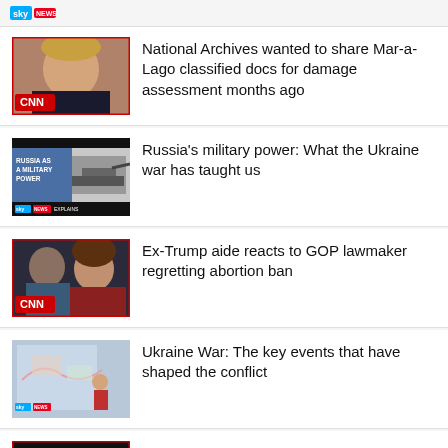[Figure (screenshot): Sky News logo top bar]
[Figure (photo): CNN thumbnail showing Trump with CNN logo overlay]
National Archives wanted to share Mar-a-Lago classified docs for damage assessment months ago
[Figure (screenshot): Sky News explainer thumbnail: Russia as a military power with tank image]
Russia's military power: What the Ukraine war has taught us
[Figure (photo): CNN thumbnail showing two people with CNN logo overlay]
Ex-Trump aide reacts to GOP lawmaker regretting abortion ban
[Figure (photo): Sky News thumbnail showing map and news presenter for Ukraine War]
Ukraine War: The key events that have shaped the conflict
[Figure (photo): Partial thumbnail at bottom of page for John Dean story]
John Dean predicts how Trump will react to